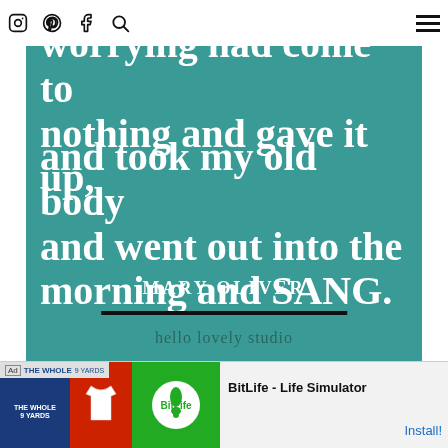Navigation bar with Instagram, Pinterest, Facebook, Search icons and hamburger menu
[Figure (illustration): Teal/turquoise quote card image with white bold serif text reading: 'worrying had come to nothing and gave it up, and took my old body and went out into the morning and SANG.' attributed to MARY OLIVER, with 'hello lovely studio' below a black horizontal divider line]
Ad: The Whole 9 Yards | BitLife - Life Simulator | Install!